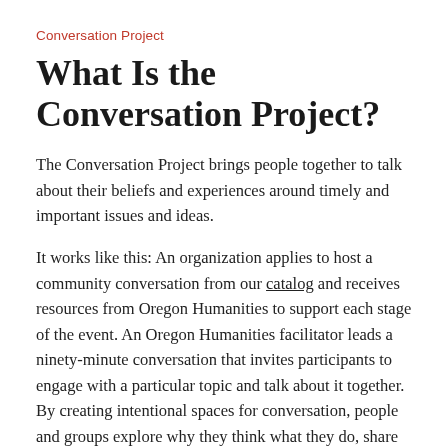Conversation Project
What Is the Conversation Project?
The Conversation Project brings people together to talk about their beliefs and experiences around timely and important issues and ideas.
It works like this: An organization applies to host a community conversation from our catalog and receives resources from Oregon Humanities to support each stage of the event. An Oregon Humanities facilitator leads a ninety-minute conversation that invites participants to engage with a particular topic and talk about it together. By creating intentional spaces for conversation, people and groups explore why they think what they do, share stories with one another